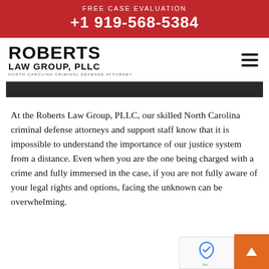FREE CASE EVALUATION +1 919-568-5384
[Figure (logo): Roberts Law Group, PLLC logo with tagline North Carolina Criminal Defense Attorney and hamburger menu icon]
[Figure (other): Dark decorative bar element]
At the Roberts Law Group, PLLC, our skilled North Carolina criminal defense attorneys and support staff know that it is impossible to understand the importance of our justice system from a distance. Even when you are the one being charged with a crime and fully immersed in the case, if you are not fully aware of your legal rights and options, facing the unknown can be overwhelming.